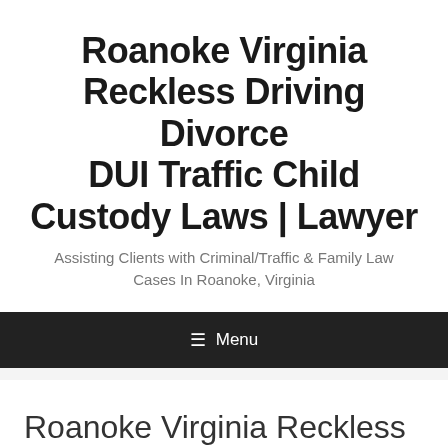Roanoke Virginia Reckless Driving Divorce DUI Traffic Child Custody Laws | Lawyer
Assisting Clients with Criminal/Traffic & Family Law Cases In Roanoke, Virginia
≡ Menu
Roanoke Virginia Reckless Driving Divorce DUI Traffic